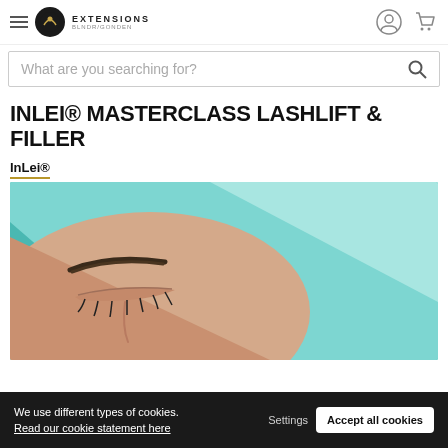EXTENSIONS BLNDR/GONDON — navigation header with logo, hamburger menu, user icon, cart icon
What are you searching for?
INLEI® MASTERCLASS LASHLIFT & FILLER
InLei®
[Figure (photo): Close-up of a woman's face with eyes closed, wearing a teal/turquoise headwrap. The photo shows her eyebrow, closed eye with lashes, and skin. Used as product promotional image for InLei Masterclass Lashlift & Filler.]
We use different types of cookies. Read our cookie statement here
Settings  Accept all cookies